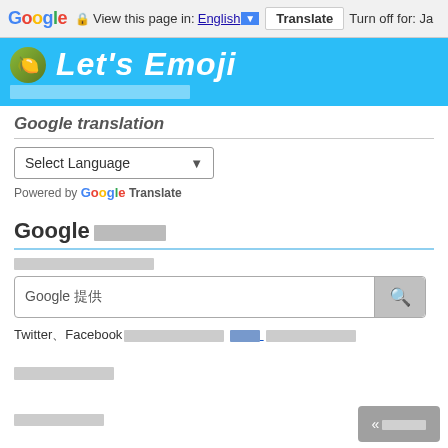Google | View this page in: English [▼] | Translate | Turn off for: Ja
Let's Emoji (banner with Japanese subtitle)
Google translation
Select Language (dropdown)
Powered by Google Translate
Google □□□□□□
□□□□□□□□□□□□
Google 提供 (search box)
Twitter、Facebook□□□□□□□□□□ □□□□□□□□□□
□□□□□□□□
□□□□□□□□